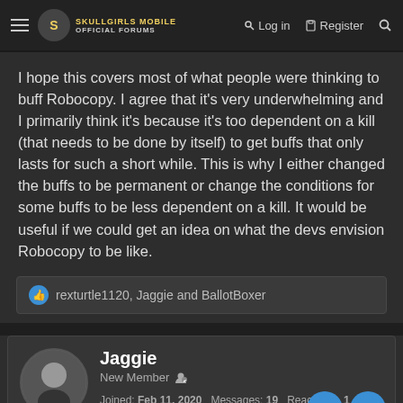Skullgirls Mobile Official Forums — Log in | Register
I hope this covers most of what people were thinking to buff Robocopy. I agree that it's very underwhelming and I primarily think it's because it's too dependent on a kill (that needs to be done by itself) to get buffs that only lasts for such a short while. This is why I either changed the buffs to be permanent or change the conditions for some buffs to be less dependent on a kill. It would be useful if we could get an idea on what the devs envision Robocopy to be like.
rexturtle1120, Jaggie and BallotBoxer
Jaggie
New Member
Joined: Feb 11, 2020  Messages: 19  Reaction Points: 1  Points: 3  Age: 19